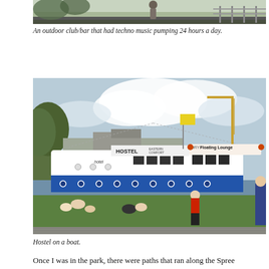[Figure (photo): Partial photo of an outdoor club/bar scene, showing a person in the background near a railing or fence, with greenery. Only the bottom portion of the image is visible.]
An outdoor club/bar that had techno music pumping 24 hours a day.
[Figure (photo): A large white and blue boat/ship moored along a riverbank with green grass in the foreground. The boat has signage reading 'HOSTEL EASTERN COMFORT' and 'Floating Lounge'. People are sitting and lying on the grass. A crane is visible in the background on the right.]
Hostel on a boat.
Once I was in the park, there were paths that ran along the Spree